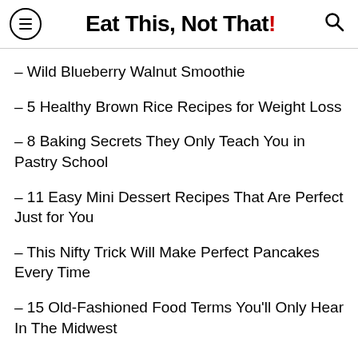Eat This, Not That!
– Wild Blueberry Walnut Smoothie
– 5 Healthy Brown Rice Recipes for Weight Loss
– 8 Baking Secrets They Only Teach You in Pastry School
– 11 Easy Mini Dessert Recipes That Are Perfect Just for You
– This Nifty Trick Will Make Perfect Pancakes Every Time
– 15 Old-Fashioned Food Terms You'll Only Hear In The Midwest